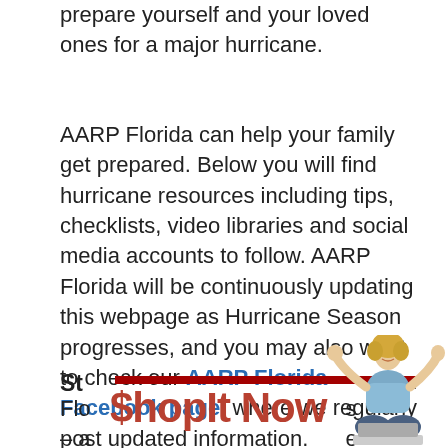prepare yourself and your loved ones for a major hurricane.
AARP Florida can help your family get prepared. Below you will find hurricane resources including tips, checklists, video libraries and social media accounts to follow. AARP Florida will be continuously updating this webpage as Hurricane Season progresses, and you may also want to check our AARP Florida Facebook page, where we regularly post updated information.
St[…]or
Flo[…]s – a[…]e ou[…] eva[…] inc[…]
[Figure (illustration): Advertisement overlay: ShopIt Now text in bold red with a woman celebrating with raised fists sitting cross-legged at a laptop]